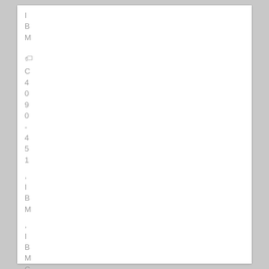I B M C4090-451, IBM , IBMCERTIFIE...